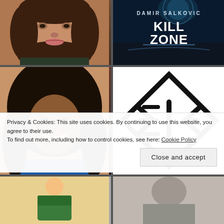[Figure (photo): Portrait photo of a young woman with long curly brown hair, smiling, wearing a dark top]
[Figure (illustration): Book cover for 'Kill Zone' by Damir Salkovic, sci-fi themed with blue tones]
[Figure (photo): Portrait photo of a Black woman with long curly black hair, smiling broadly, wearing a blue top]
[Figure (logo): Diamond-shaped logo with angular letters EJD or similar initials inside, black on white]
Privacy & Cookies: This site uses cookies. By continuing to use this website, you agree to their use.
To find out more, including how to control cookies, see here: Cookie Policy
Close and accept
[Figure (photo): Partial view of a cartoon or illustrated character at bottom left]
[Figure (photo): Partial view of a person or figure at bottom right, grayscale tones]